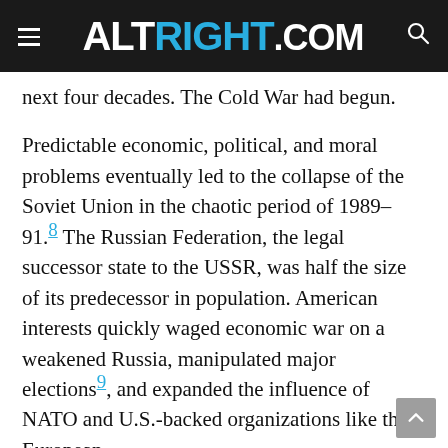ALTRIGHT.COM
next four decades. The Cold War had begun.
Predictable economic, political, and moral problems eventually led to the collapse of the Soviet Union in the chaotic period of 1989–91.8 The Russian Federation, the legal successor state to the USSR, was half the size of its predecessor in population. American interests quickly waged economic war on a weakened Russia, manipulated major elections9, and expanded the influence of NATO and U.S.-backed organizations like the European